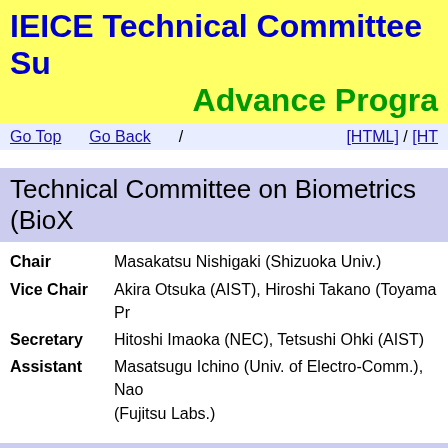IEICE Technical Committee Su Advance Progra
Go Top   Go Back   /   [HTML] / [HT
Technical Committee on Biometrics (BioX
Chair: Masakatsu Nishigaki (Shizuoka Univ.)
Vice Chair: Akira Otsuka (AIST), Hiroshi Takano (Toyama Pr.
Secretary: Hitoshi Imaoka (NEC), Tetsushi Ohki (AIST)
Assistant: Masatsugu Ichino (Univ. of Electro-Comm.), Nao (Fujitsu Labs.)
Technical Committee on ME and Bio Cyb
Chair: Yutaka Fukuoka (Kogakuin Univ.)
Vice Chair: Kazuki Nakajima (Univ. of Toyama)
Secretary: Hisaya Tanaka (Kogakuin Univ.), Hiroshi Takano
Assistant: Ryota Horie (Shibaura Inst. of Tech.), Kim Juhyo